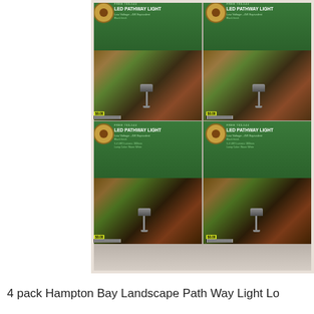[Figure (photo): Four boxes of Hampton Bay LED Pathway Light (Low Voltage, 4W Equivalent) arranged in a 2x2 grid. Each box has a green label area at top with product name and a photo of a garden stake light installed in a landscaped garden. The boxes are photographed on a gray concrete surface.]
4 pack Hampton Bay Landscape Path Way Light Lo